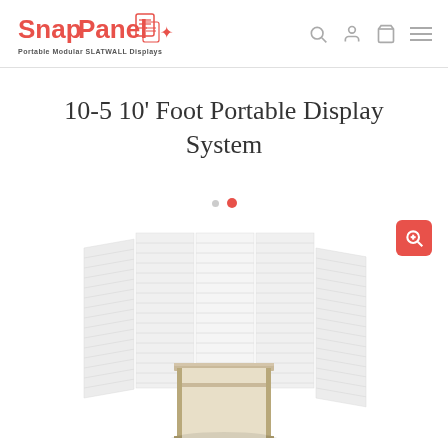SnapPanel - Portable Modular SLATWALL Displays
10-5 10' Foot Portable Display System
[Figure (photo): 3D rendering of a 10-foot portable slatwall display system arranged in a U-shape configuration with white slatwall panels and a small tan/beige shelf unit in the center front. The panels are white with horizontal slat grooves for mounting accessories.]